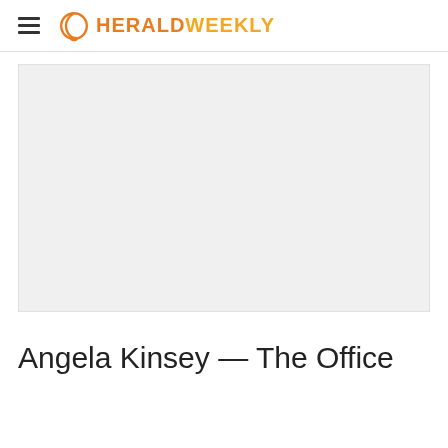HERALDWEEKLY
[Figure (photo): Large rectangular placeholder image area with light gray background]
Angela Kinsey — The Office